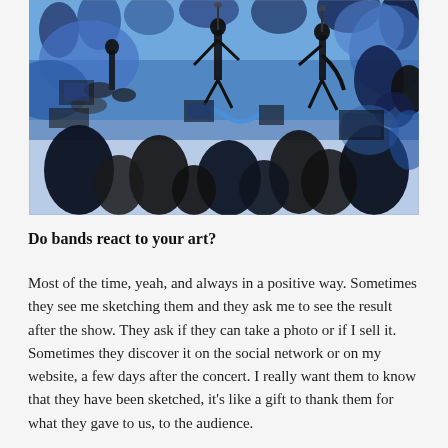[Figure (illustration): Blue and black ink illustration of a live music concert scene, showing musicians on stage performing while an audience watches from below. The artwork uses expressive brushwork with bold blue and black tones depicting a crowded venue with instruments, equipment, and people.]
Do bands react to your art?
Most of the time, yeah, and always in a positive way. Sometimes they see me sketching them and they ask me to see the result after the show. They ask if they can take a photo or if I sell it. Sometimes they discover it on the social network or on my website, a few days after the concert. I really want them to know that they have been sketched, it's like a gift to thank them for what they gave to us, to the audience.